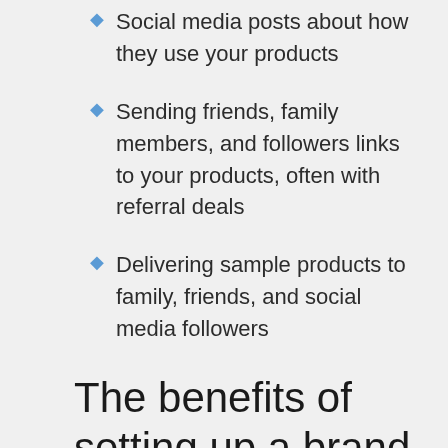Social media posts about how they use your products
Sending friends, family members, and followers links to your products, often with referral deals
Delivering sample products to family, friends, and social media followers
The benefits of setting up a brand ambassador program
Studies have shown that customers increasingly prefer to buy from companies